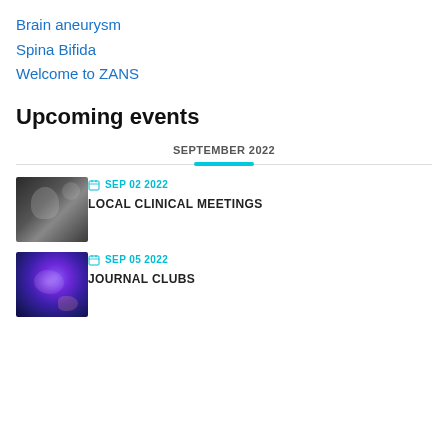Brain aneurysm
Spina Bifida
Welcome to ZANS
Upcoming events
SEPTEMBER 2022
[Figure (photo): Two surgeons in an operating room, dark clinical environment]
SEP 02 2022
LOCAL CLINICAL MEETINGS
[Figure (photo): Glowing brain or neurology-related image with purple and pink hues]
SEP 05 2022
JOURNAL CLUBS